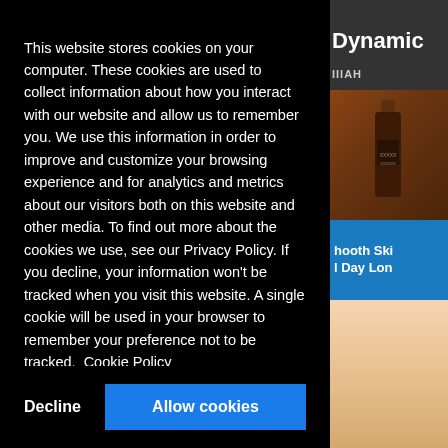[Figure (screenshot): Partial website screenshot visible behind cookie consent modal. Right panel shows 'Dynamic' text header, a product bottle image on brown/dark background, a blue band with text 'hooth Ski' and 'Day Lon', and a skin/face image below. Bottom shows partial title 'Dynamic Ads with'.]
This website stores cookies on your computer. These cookies are used to collect information about how you interact with our website and allow us to remember you. We use this information in order to improve and customize your browsing experience and for analytics and metrics about our visitors both on this website and other media. To find out more about the cookies we use, see our Privacy Policy. If you decline, your information won't be tracked when you visit this website. A single cookie will be used in your browser to remember your preference not to be tracked.  Cookie Policy
Decline
Allow cookies
Dynamic Ads with